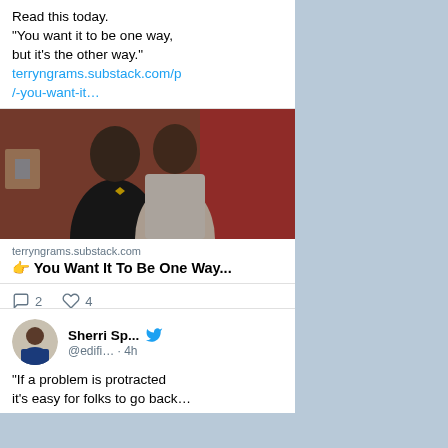Read this today.
"You want it to be one way, but it's the other way."
terryngrams.substack.com/p/-you-want-it…
[Figure (photo): Photo of a police officer standing behind a young Black man outdoors, with red flowers in the background]
terryngrams.substack.com
👉 You Want It To Be One Way...
2 comments, 4 likes
Sherri Sp... @edifi... · 4h
"If a problem is protracted it's easy for folks to go back…"